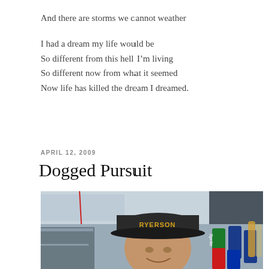And there are storms we cannot weather
I had a dream my life would be
So different from this hell I’m living
So different now from what it seemed
Now life has killed the dream I dreamed.
APRIL 12, 2009
Dogged Pursuit
[Figure (photo): A man wearing a dark baseball cap with 'RYERSON' written in yellow letters, smiling, with canned beverages (Sprite, Pepsi, Coke) visible in the background behind a counter or food stall.]